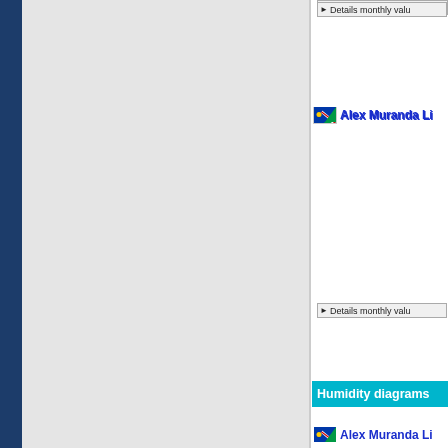[Figure (screenshot): Web page screenshot showing a climate/weather data site. Left side has a dark navy blue vertical sidebar and a large light grey content area. Right panel shows weather/climate information for Alex Muranda location in Namibia.]
Details monthly valu
Alex Muranda Li
Details monthly valu
Humidity diagrams
Alex Muranda Li